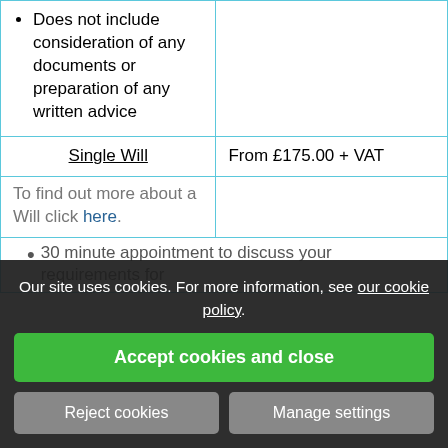| Service | Price |
| --- | --- |
| • Does not include consideration of any documents or preparation of any written advice |  |
| Single Will | From £175.00 + VAT |
| To find out more about a Will click here. | 30 minute appointment to discuss your requirements for |
Our site uses cookies. For more information, see our cookie policy. Accept cookies and close. Reject cookies. Manage settings.